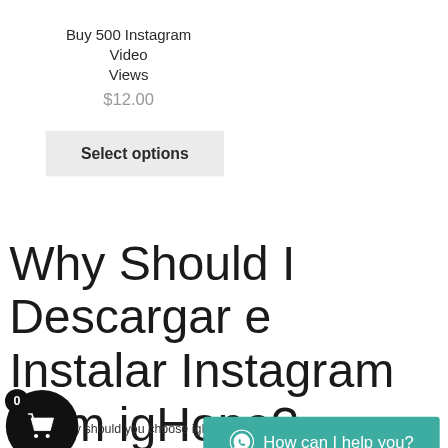Buy 500 Instagram Video Views
$12.00
Select options
Why Should I Descargar e Instalar Instagram from igHope?
ou know why should you choose igHope? You definitely
[Figure (screenshot): Floating cart button with badge showing 0]
[Figure (screenshot): WhatsApp chat widget bar with text How can I help you?]
Bottom navigation bar with person icon, search icon, and cart icon with badge 0